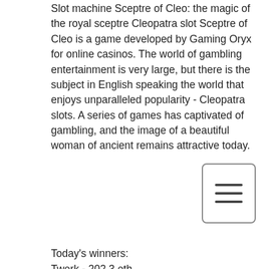Slot machine Sceptre of Cleo: the magic of the royal sceptre Cleopatra slot Sceptre of Cleo is a game developed by Gaming Oryx for online casinos. The world of gambling entertainment is very large, but there is the subject in English speaking the world that enjoys unparalleled popularity - Cleopatra slots. A series of games has captivated of gambling, and the image of a beautiful woman of ancient remains attractive today.
Today's winners:
Twerk - 202.3 eth
Book of Crazy Chicken - 415.8 ltc
Oh Catrina - 5.5 usdt
Xmas Joker - 245.9 ltc
Kitty Cabana - 448.1 bch
Vikings go Berzerk - 217.8 bch
Big Top - 103.4 dog
The Rift - 745.4 dog
Four Guardians - 75.2 eth
After Night Falls - 737.2 dog